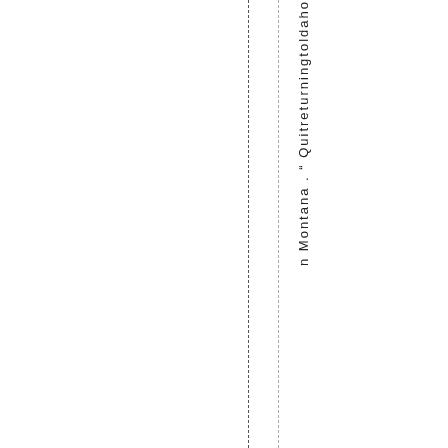n Montana . " Quitreturnington l d a h o